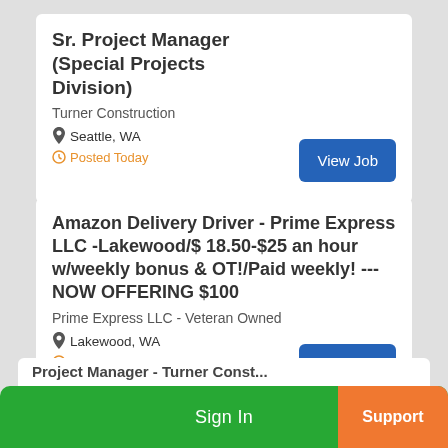Sr. Project Manager (Special Projects Division)
Turner Construction
Seattle, WA
Posted Today
Amazon Delivery Driver - Prime Express LLC -Lakewood/$ 18.50-$25 an hour w/weekly bonus & OT!/Paid weekly! --- NOW OFFERING $100
Prime Express LLC - Veteran Owned
Lakewood, WA
Posted Today
Sign In
Support